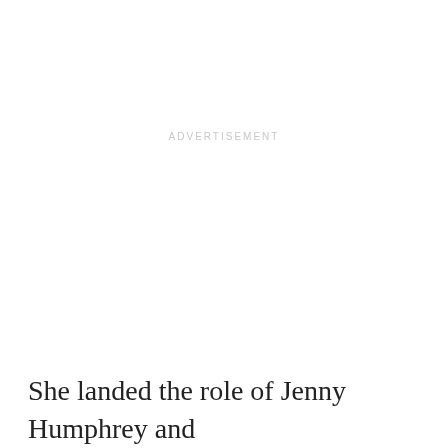ADVERTISEMENT
She landed the role of Jenny Humphrey and